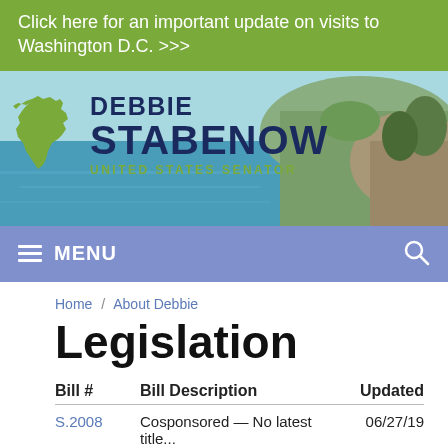Click here for an important update on visits to Washington D.C. >>>
[Figure (screenshot): Debbie Stabenow United States Senator header banner with Michigan state outline logo and coastal landscape background]
MENU (navigation bar with search icon)
Home / About Debbie
Legislation
| Bill # | Bill Description | Updated |
| --- | --- | --- |
| S.2008 | Cosponsored — No latest title... | 06/27/19 |